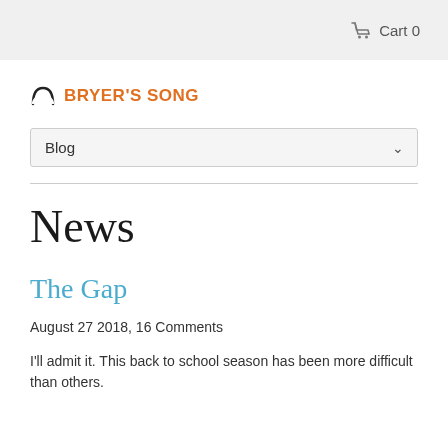Cart 0
BRYER'S SONG
Blog
News
The Gap
August 27 2018, 16 Comments
I'll admit it. This back to school season has been more difficult than others.